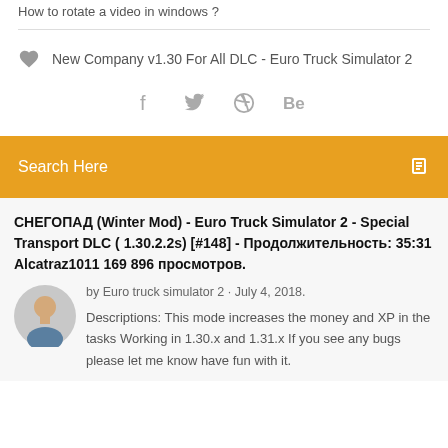How to rotate a video in windows ?
New Company v1.30 For All DLC - Euro Truck Simulator 2
f  ✈  ⊗  Be
Search Here
СНЕГОПАД (Winter Mod) - Euro Truck Simulator 2 - Special Transport DLC ( 1.30.2.2s) [#148] - Продолжительность: 35:31 Alcatraz1011 169 896 просмотров.
by Euro truck simulator 2 · July 4, 2018.
Descriptions: This mode increases the money and XP in the tasks Working in 1.30.x and 1.31.x If you see any bugs please let me know have fun with it.